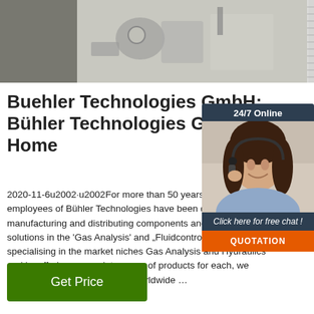[Figure (photo): Close-up photo of industrial mechanical components, metal parts and fittings in a workshop setting]
Buehler Technologies GmbH: Bühler Technologies GmbH Home
2020-11-6u2002·u2002For more than 50 years, the employees of Bühler Technologies have been developing, manufacturing and distributing components and system solutions in the 'Gas Analysis' and „Fluidcontrol' divisions. By specialising in the market niches Gas Analysis and Hydraulics and by offering a complete range of products for each, we have succeeded to become a worldwide …
[Figure (photo): Customer service representative woman wearing headset smiling, with 24/7 Online chat widget overlay including QUOTATION button]
Get Price